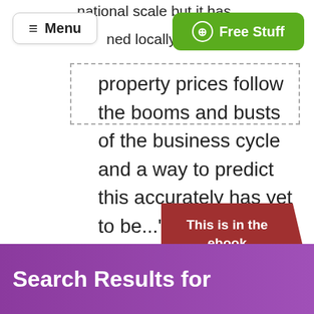national scale but it has
Menu | Free Stuff
ned locally
property prices follow the booms and busts of the business cycle and a way to predict this accurately has yet to be..."
This is in the ebook
Get your copy now
Search Results for